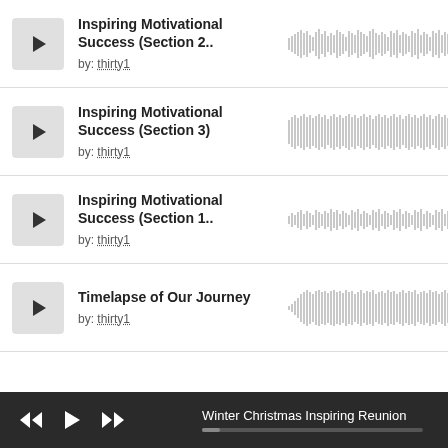Inspiring Motivational Success (Section 2.. by: thirty1
Inspiring Motivational Success (Section 3) by: thirty1
Inspiring Motivational Success (Section 1.. by: thirty1
Timelapse of Our Journey by: thirty1
Winter Christmas Inspiring Reunion